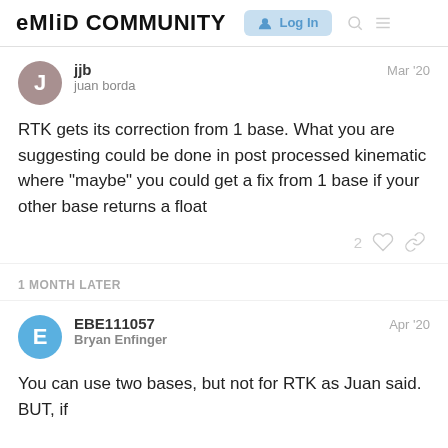EMLID COMMUNITY  Log In
jjb
juan borda
Mar '20
RTK gets its correction from 1 base. What you are suggesting could be done in post processed kinematic where “maybe” you could get a fix from 1 base if your other base returns a float
2
1 MONTH LATER
EBE111057
Bryan Enfinger
Apr '20
You can use two bases, but not for RTK as Juan said. BUT, if